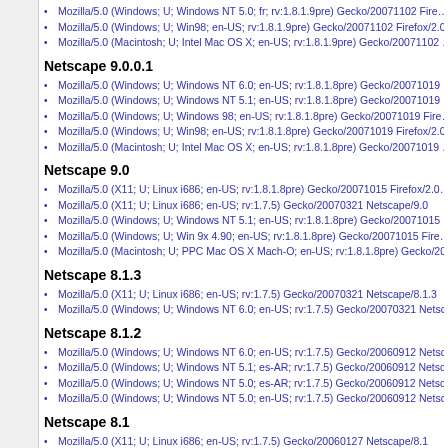Mozilla/5.0 (Windows; U; Windows NT 5.0; fr; rv:1.8.1.9pre) Gecko/20071102 Fire…
Mozilla/5.0 (Windows; U; Win98; en-US; rv:1.8.1.9pre) Gecko/20071102 Firefox/2.0…
Mozilla/5.0 (Macintosh; U; Intel Mac OS X; en-US; rv:1.8.1.9pre) Gecko/20071102 …
Netscape 9.0.0.1
Mozilla/5.0 (Windows; U; Windows NT 6.0; en-US; rv:1.8.1.8pre) Gecko/20071019
Mozilla/5.0 (Windows; U; Windows NT 5.1; en-US; rv:1.8.1.8pre) Gecko/20071019
Mozilla/5.0 (Windows; U; Windows 98; en-US; rv:1.8.1.8pre) Gecko/20071019 Fire…
Mozilla/5.0 (Windows; U; Win98; en-US; rv:1.8.1.8pre) Gecko/20071019 Firefox/2.0…
Mozilla/5.0 (Macintosh; U; Intel Mac OS X; en-US; rv:1.8.1.8pre) Gecko/20071019 …
Netscape 9.0
Mozilla/5.0 (X11; U; Linux i686; en-US; rv:1.8.1.8pre) Gecko/20071015 Firefox/2.0…
Mozilla/5.0 (X11; U; Linux i686; en-US; rv:1.7.5) Gecko/20070321 Netscape/9.0
Mozilla/5.0 (Windows; U; Windows NT 5.1; en-US; rv:1.8.1.8pre) Gecko/20071015
Mozilla/5.0 (Windows; U; Win 9x 4.90; en-US; rv:1.8.1.8pre) Gecko/20071015 Fire…
Mozilla/5.0 (Macintosh; U; PPC Mac OS X Mach-O; en-US; rv:1.8.1.8pre) Gecko/20…
Netscape 8.1.3
Mozilla/5.0 (X11; U; Linux i686; en-US; rv:1.7.5) Gecko/20070321 Netscape/8.1.3
Mozilla/5.0 (Windows; U; Windows NT 6.0; en-US; rv:1.7.5) Gecko/20070321 Netsc…
Netscape 8.1.2
Mozilla/5.0 (Windows; U; Windows NT 6.0; en-US; rv:1.7.5) Gecko/20060912 Netsc…
Mozilla/5.0 (Windows; U; Windows NT 5.1; es-AR; rv:1.7.5) Gecko/20060912 Netsc…
Mozilla/5.0 (Windows; U; Windows NT 5.0; es-AR; rv:1.7.5) Gecko/20060912 Netsc…
Mozilla/5.0 (Windows; U; Windows NT 5.0; en-US; rv:1.7.5) Gecko/20060912 Netsc…
Netscape 8.1
Mozilla/5.0 (X11; U; Linux i686; en-US; rv:1.7.5) Gecko/20060127 Netscape/8.1